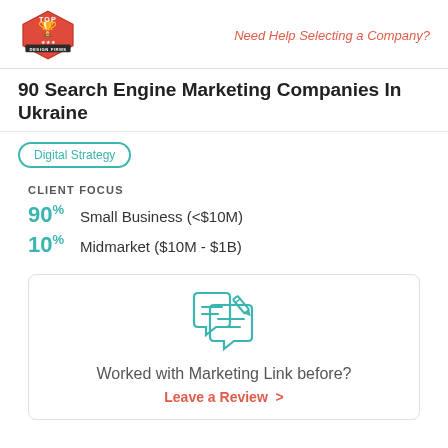Top Design Firms logo | Need Help Selecting a Company?
90 Search Engine Marketing Companies In Ukraine
Digital Strategy
CLIENT FOCUS
90% Small Business (<$10M)
10% Midmarket ($10M - $1B)
[Figure (illustration): Chat bubble with pencil/writing icon, teal outline style]
Worked with Marketing Link before?
Leave a Review >